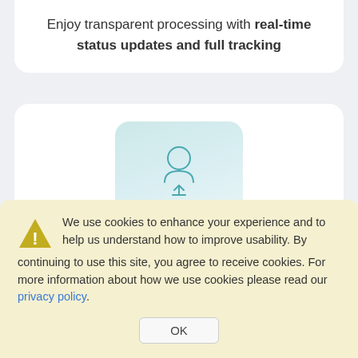Enjoy transparent processing with real-time status updates and full tracking
[Figure (illustration): A rounded trapezoid-shaped card with a teal/light-blue gradient background containing an upload/person icon in the center]
Upload and reuse your digital photographs without ever needing a printer
We use cookies to enhance your experience and to help us understand how to improve usability. By continuing to use this site, you agree to receive cookies. For more information about how we use cookies please read our privacy policy.